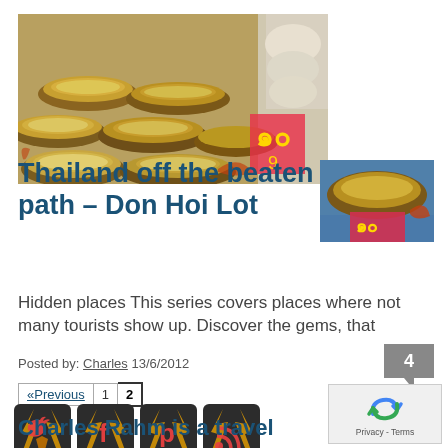[Figure (photo): Photo of Thai food — shellfish/crabs displayed in shells at a market stall]
Thailand off the beaten path – Don Hoi Lot
Hidden places This series covers places where not many tourists show up. Discover the gems, that
Posted by: Charles 13/6/2012
[Figure (other): Comment count badge showing 4]
«Previous  1  2 (pagination)
[Figure (other): Social media icons: Twitter, Facebook, Pinterest, RSS feed]
Charles Rahm is a travel
[Figure (other): Google reCAPTCHA widget with Privacy - Terms text]